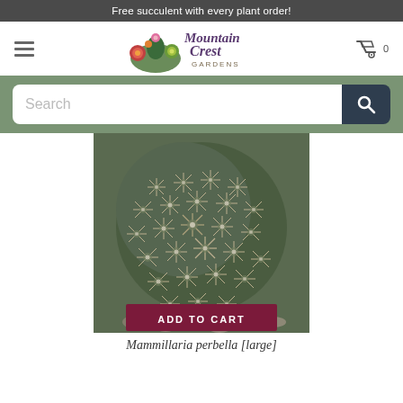Free succulent with every plant order!
[Figure (logo): Mountain Crest Gardens logo with colorful succulent/cactus illustration and stylized script text]
[Figure (screenshot): Search bar with placeholder text 'Search' and a dark teal search button with magnifying glass icon]
[Figure (photo): Close-up photograph of a Mammillaria perbella cactus [large], showing dense white spines radiating from tubercles in a spherical form, with gravel/rocks visible at base]
ADD TO CART
Mammillaria perbella [large]